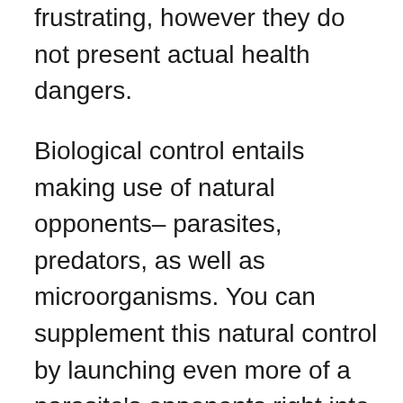frustrating, however they do not present actual health dangers.
Biological control entails making use of natural opponents– parasites, predators, as well as microorganisms. You can supplement this natural control by launching even more of a parasite's opponents right into the target location or by introducing new opponents that were not in the location prior to. There is a